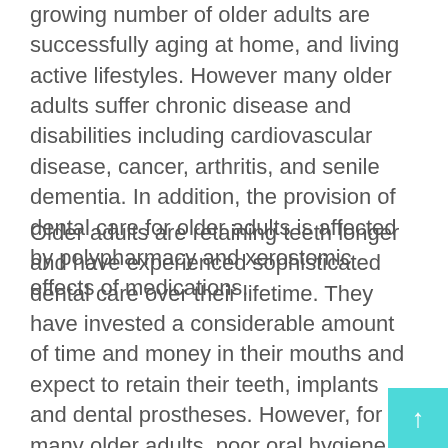...allied with the positive and negative effects of the age. A growing number of older adults are successfully aging at home, and living active lifestyles. However many older adults suffer chronic disease and disabilities including cardiovascular disease, cancer, arthritis, and senile dementia. In addition, the provision of dental care for older adults is affected by polypharmacy and xerostomic effects of medications.
Older adults are retaining teeth longer and have experienced sophisticated dental care over their lifetime. They have invested a considerable amount of time and money in their mouths and expect to retain their teeth, implants and dental prostheses. However, for many older adults, poor oral hygiene predisposes them to gingivitis, periodontitis, denture stomatitis, and especially dental caries. Poor oral health and tooth loss often results in discomfort, poor aesthetics, halitosis, compromised mastication, and these combined decrease quality of life.